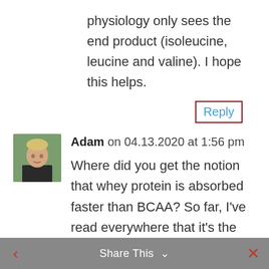physiology only sees the end product (isoleucine, leucine and valine). I hope this helps.
Reply
[Figure (photo): Avatar photo of user Adam, showing a young man in a dark shirt outdoors]
Adam on 04.13.2020 at 1:56 pm
Where did you get the notion that whey protein is absorbed faster than BCAA? So far, I've read everywhere that it's the other way round. BCAAs are chemically simpler in structure so it makes
Share This